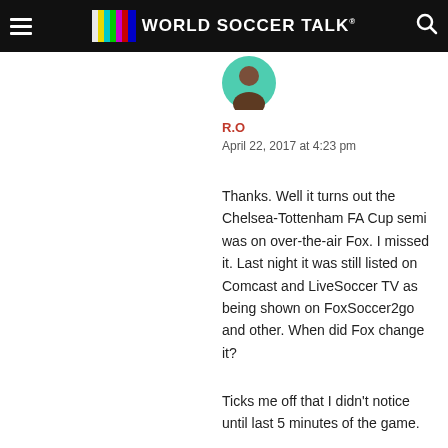World Soccer Talk
[Figure (logo): World Soccer Talk logo with colorful TV test pattern bars and white text on black header bar]
[Figure (photo): User avatar circle icon with teal/green color showing a stylized person silhouette]
R.O
April 22, 2017 at 4:23 pm
Thanks. Well it turns out the Chelsea-Tottenham FA Cup semi was on over-the-air Fox. I missed it. Last night it was still listed on Comcast and LiveSoccer TV as being shown on FoxSoccer2go and other. When did Fox change it?
Ticks me off that I didn't notice until last 5 minutes of the game.